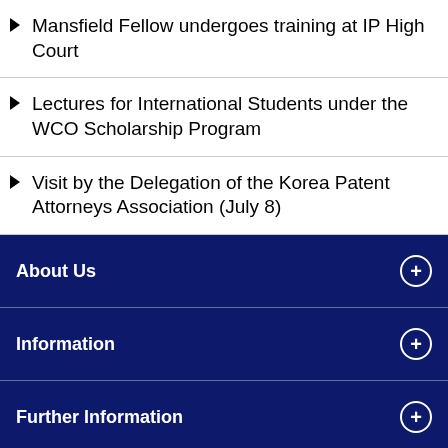Mansfield Fellow undergoes training at IP High Court
Lectures for International Students under the WCO Scholarship Program
Visit by the Delegation of the Korea Patent Attorneys Association (July 8)
About Us
Information
Further Information
Rules of Practice
Judicial Symposium on Intellectual Property / TOKYO